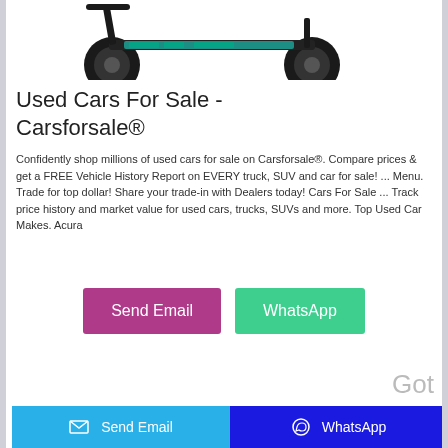[Figure (photo): A kick scooter with large wheels, dark frame with teal decorative pattern, photographed on white background, partially cropped at top of page.]
Used Cars For Sale - Carsforsale®
Confidently shop millions of used cars for sale on Carsforsale®. Compare prices & get a FREE Vehicle History Report on EVERY truck, SUV and car for sale! ... Menu. Trade for top dollar! Share your trade-in with Dealers today! Cars For Sale ... Track price history and market value for used cars, trucks, SUVs and more. Top Used Car Makes. Acura
[Figure (infographic): Two buttons: 'Send Email' (purple/magenta) and 'WhatsApp' (green teal)]
Send Email   WhatsApp